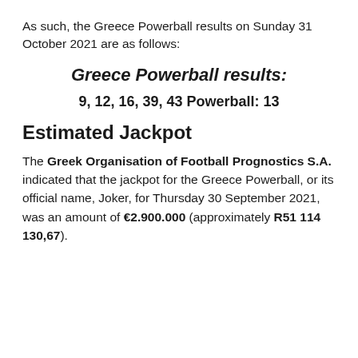As such, the Greece Powerball results on Sunday 31 October 2021 are as follows:
Greece Powerball results:
9, 12, 16, 39, 43 Powerball: 13
Estimated Jackpot
The Greek Organisation of Football Prognostics S.A. indicated that the jackpot for the Greece Powerball, or its official name, Joker, for Thursday 30 September 2021, was an amount of €2.900.000 (approximately R51 114 130,67).